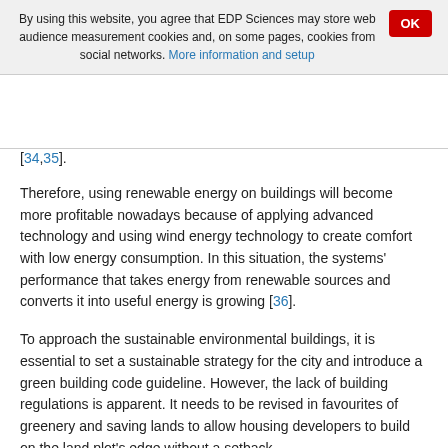By using this website, you agree that EDP Sciences may store web audience measurement cookies and, on some pages, cookies from social networks. More information and setup
[34,35].
Therefore, using renewable energy on buildings will become more profitable nowadays because of applying advanced technology and using wind energy technology to create comfort with low energy consumption. In this situation, the systems' performance that takes energy from renewable sources and converts it into useful energy is growing [36].
To approach the sustainable environmental buildings, it is essential to set a sustainable strategy for the city and introduce a green building code guideline. However, the lack of building regulations is apparent. It needs to be revised in favourites of greenery and saving lands to allow housing developers to build on the land plot's edge without a setback